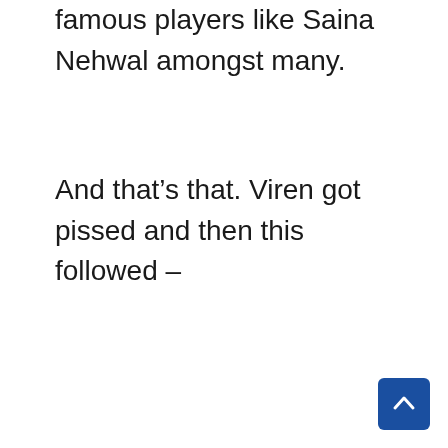famous players like Saina Nehwal amongst many.
And that’s that. Viren got pissed and then this followed –
[Figure (other): Scroll-to-top button with chevron/caret up arrow, dark blue square with rounded corners]